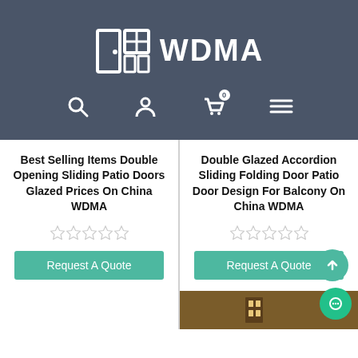[Figure (logo): WDMA logo with door/window icon and text WDMA on dark background navigation header with search, user, cart (0), and menu icons]
Best Selling Items Double Opening Sliding Patio Doors Glazed Prices On China WDMA
Double Glazed Accordion Sliding Folding Door Patio Door Design For Balcony On China WDMA